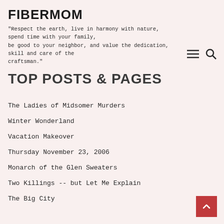FIBERMOM
"Respect the earth, live in harmony with nature, spend time with your family, be good to your neighbor, and value the dedication, skill and care of the craftsman."
TOP POSTS & PAGES
The Ladies of Midsomer Murders
Winter Wonderland
Vacation Makeover
Thursday November 23, 2006
Monarch of the Glen Sweaters
Two Killings -- but Let Me Explain
The Big City